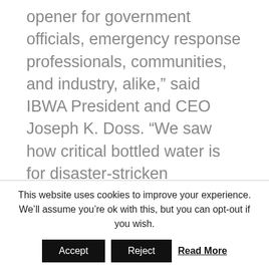opener for government officials, emergency response professionals, communities, and industry, alike," said IBWA President and CEO Joseph K. Doss. "We saw how critical bottled water is for disaster-stricken communities and the importance of a coordinated, effective response to get drinking water to people in need."
In response to Hurricane Katrina in 2005, the
This website uses cookies to improve your experience. We'll assume you're ok with this, but you can opt-out if you wish.